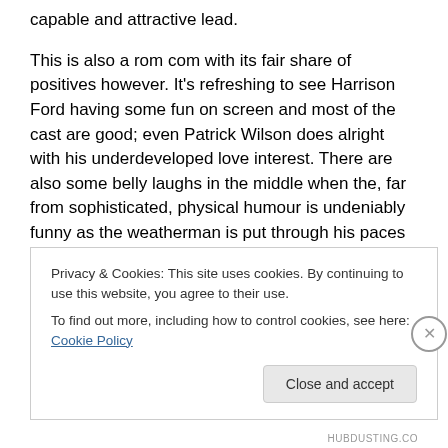capable and attractive lead.
This is also a rom com with its fair share of positives however. It’s refreshing to see Harrison Ford having some fun on screen and most of the cast are good; even Patrick Wilson does alright with his underdeveloped love interest. There are also some belly laughs in the middle when the, far from sophisticated, physical humour is undeniably funny as the weatherman is put through his paces on a rollercoaster, all in the name of ratings. Then there’s the message behind it all.
Privacy & Cookies: This site uses cookies. By continuing to use this website, you agree to their use.
To find out more, including how to control cookies, see here: Cookie Policy
HUBDUSTING.CO